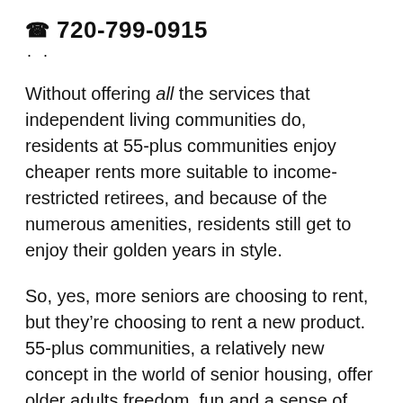720-799-0915
Without offering all the services that independent living communities do, residents at 55-plus communities enjoy cheaper rents more suitable to income-restricted retirees, and because of the numerous amenities, residents still get to enjoy their golden years in style.
So, yes, more seniors are choosing to rent, but they’re choosing to rent a new product. 55-plus communities, a relatively new concept in the world of senior housing, offer older adults freedom, fun and a sense of community without forcing them to think “what’s next?” before they decide it’s time.